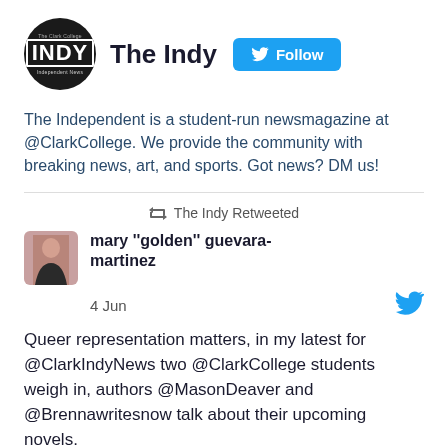[Figure (logo): The Clark College Indy circular logo in black and white]
The Indy
[Figure (other): Twitter Follow button in blue]
The Independent is a student-run newsmagazine at @ClarkCollege. We provide the community with breaking news, art, and sports. Got news? DM us!
The Indy Retweeted
[Figure (photo): Profile photo of mary 'golden' guevara-martinez]
mary "golden" guevara-martinez
4 Jun
Queer representation matters, in my latest for @ClarkIndyNews two @ClarkCollege students weigh in, authors @MasonDeaver and @Brennawritesnow talk about their upcoming novels.
Read more below.